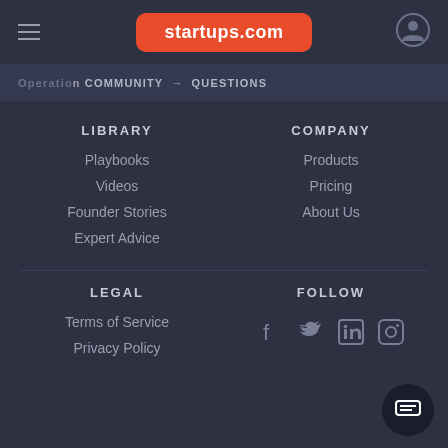startups.com
Operations  COMMUNITY → QUESTIONS
LIBRARY
Playbooks
Videos
Founder Stories
Expert Advice
COMPANY
Products
Pricing
About Us
LEGAL
Terms of Service
Privacy Policy
FOLLOW
[Figure (other): Social media icons: Facebook, Twitter, LinkedIn, Instagram]